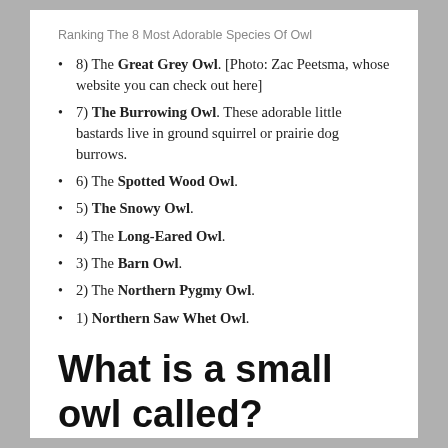Ranking The 8 Most Adorable Species Of Owl
8) The Great Grey Owl. [Photo: Zac Peetsma, whose website you can check out here]
7) The Burrowing Owl. These adorable little bastards live in ground squirrel or prairie dog burrows.
6) The Spotted Wood Owl.
5) The Snowy Owl.
4) The Long-Eared Owl.
3) The Barn Owl.
2) The Northern Pygmy Owl.
1) Northern Saw Whet Owl.
What is a small owl called?